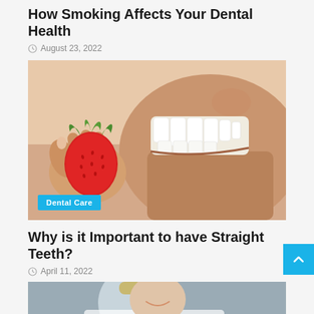How Smoking Affects Your Dental Health
August 23, 2022
[Figure (photo): Close-up of a man holding a strawberry near his mouth showing white teeth and stubble beard.]
Dental Care
Why is it Important to have Straight Teeth?
April 11, 2022
[Figure (photo): Partial view of a person smiling, cropped at top of page bottom.]